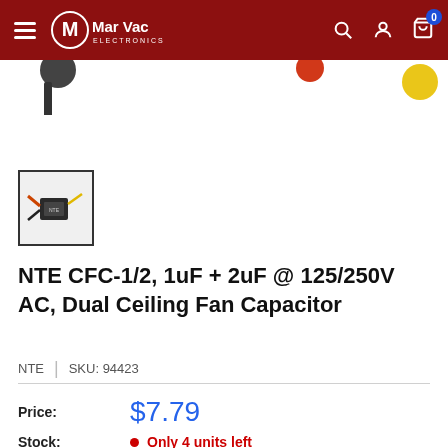MarVac Electronics – Navigation header
[Figure (photo): Partial product photo showing capacitor wires with black, red, and yellow connectors on white background]
[Figure (photo): Thumbnail image of NTE CFC-1/2 Dual Ceiling Fan Capacitor in a square border]
NTE CFC-1/2, 1uF + 2uF @ 125/250V AC, Dual Ceiling Fan Capacitor
NTE  |  SKU: 94423
Price:  $7.79
Stock:  Only 4 units left